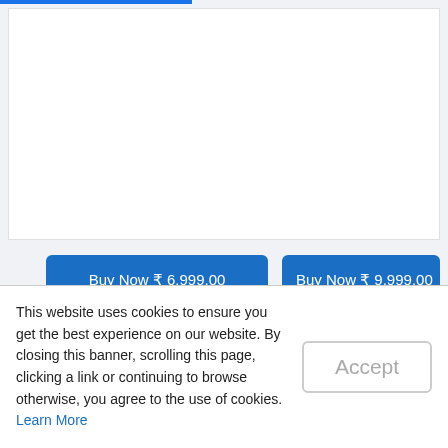[Figure (screenshot): Top blue loading progress bar at top of page]
[Figure (screenshot): Circular loading spinner icon in top right corner, blue color]
[Figure (screenshot): White content area (product comparison section, content loading)]
Buy Now ₹ 6,999.00
Buy Now ₹ 9,999.00
Comparison Overview Acue
This website uses cookies to ensure you get the best experience on our website. By closing this banner, scrolling this page, clicking a link or continuing to browse otherwise, you agree to the use of cookies. Learn More
Accept